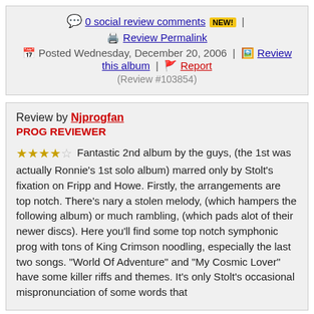0 social review comments NEW! | Review Permalink | Posted Wednesday, December 20, 2006 | Review this album | Report (Review #103854)
Review by Njprogfan PROG REVIEWER ★★★★☆ Fantastic 2nd album by the guys, (the 1st was actually Ronnie's 1st solo album) marred only by Stolt's fixation on Fripp and Howe. Firstly, the arrangements are top notch. There's nary a stolen melody, (which hampers the following album) or much rambling, (which pads alot of their newer discs). Here you'll find some top notch symphonic prog with tons of King Crimson noodling, especially the last two songs. "World Of Adventure" and "My Cosmic Lover" have some killer riffs and themes. It's only Stolt's occasional mispronunciation of some words that